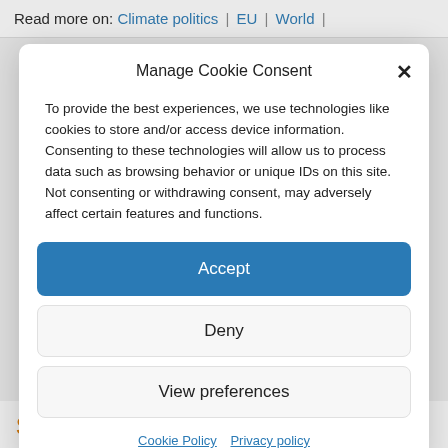Read more on: Climate politics | EU | World |
Manage Cookie Consent
To provide the best experiences, we use technologies like cookies to store and/or access device information. Consenting to these technologies will allow us to process data such as browsing behavior or unique IDs on this site. Not consenting or withdrawing consent, may adversely affect certain features and functions.
Accept
Deny
View preferences
Cookie Policy   Privacy policy
Sponsored content